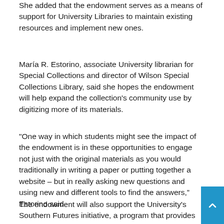She added that the endowment serves as a means of support for University Libraries to maintain existing resources and implement new ones.
María R. Estorino, associate University librarian for Special Collections and director of Wilson Special Collections Library, said she hopes the endowment will help expand the collection's community use by digitizing more of its materials.
“One way in which students might see the impact of the endowment is in these opportunities to engage not just with the original materials as you would traditionally in writing a paper or putting together a website – but in really asking new questions and using new and different tools to find the answers,” Estorino said.
The endowment will also support the University’s Southern Futures initiative, a program that provides scholarships for